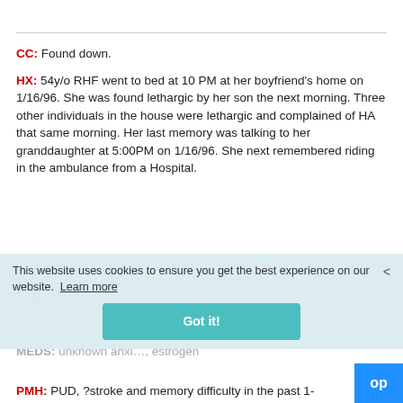CC: Found down.
HX: 54y/o RHF went to bed at 10 PM at her boyfriend's home on 1/16/96. She was found lethargic by her son the next morning. Three other individuals in the house were lethargic and complained of HA that same morning. Her last memory was talking to her granddaughter at 5:00PM on 1/16/96. She next remembered riding in the ambulance from a Hospital.
Initial Carboxyhemoglobin level was 24% (normal <1%). The driver was found with a 23% level. He was treated.
MEDS: unknown anxiolytic, estrogen
PMH: PUD, ?stroke and memory difficulty in the past 1-